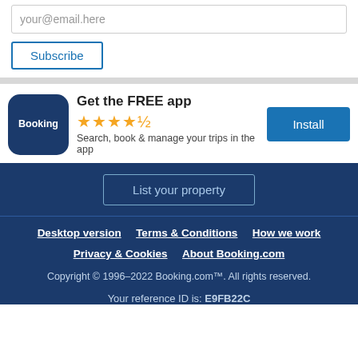your@email.here
Subscribe
[Figure (logo): Booking.com app logo — dark blue rounded square with 'Booking' text in white]
Get the FREE app
★★★★½ (4.5 stars)
Search, book & manage your trips in the app
Install
List your property
Desktop version
Terms & Conditions
How we work
Privacy & Cookies
About Booking.com
Copyright © 1996–2022 Booking.com™. All rights reserved.
Your reference ID is: E9FB22C